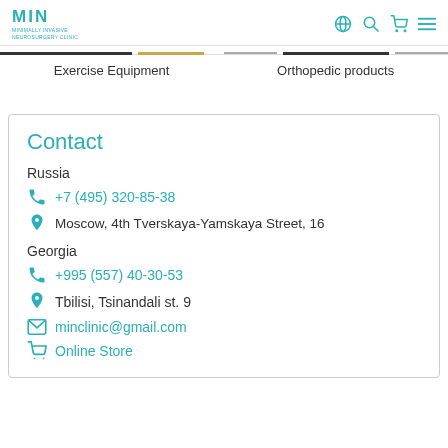MIN MINIMALLY INVASIVE NEUROSURGERY CLINIC
Exercise Equipment
Orthopedic products
Contact
Russia
+7 (495) 320-85-38
Moscow, 4th Tverskaya-Yamskaya Street, 16
Georgia
+995 (557) 40-30-53
Tbilisi, Tsinandali st. 9
minclinic@gmail.com
Online Store